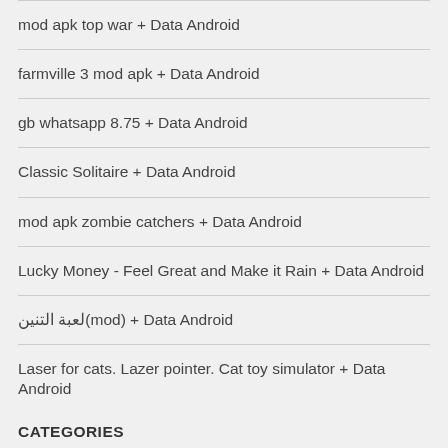mod apk top war + Data Android
farmville 3 mod apk + Data Android
gb whatsapp 8.75 + Data Android
Classic Solitaire + Data Android
mod apk zombie catchers + Data Android
Lucky Money - Feel Great and Make it Rain + Data Android
لعبة التنين(mod) + Data Android
Laser for cats. Lazer pointer. Cat toy simulator + Data Android
CATEGORIES